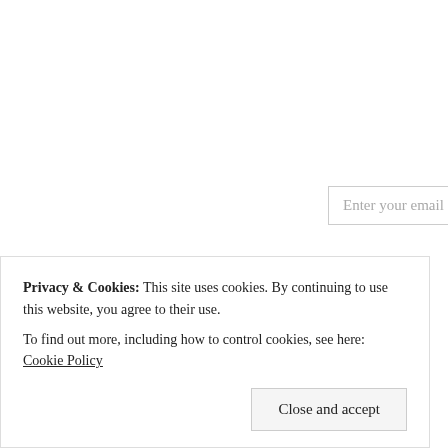FOLLOW BLOG VIA EMAIL
Enter your email address to follow this blog and receive notifications of new posts by email.
Enter your email address
Follow
ARCHIVES
Select Month
Follow on Bloglovin'
RECENT P
fierce Februa...
bruising seas...
calendar alert...
wander or wo...
hope holds Au...
Privacy & Cookies: This site uses cookies. By continuing to use this website, you agree to their use.
To find out more, including how to control cookies, see here: Cookie Policy
Close and accept